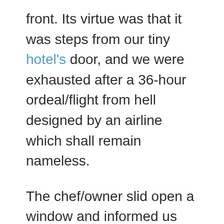front. Its virtue was that it was steps from our tiny hotel's door, and we were exhausted after a 36-hour ordeal/flight from hell designed by an airline which shall remain nameless.
The chef/owner slid open a window and informed us the place was reservation only, but he would take us if we wanted to sit outside. It was a tasting menu–whatever he wanted to cook that day, we would eat. We sat, intrigued (and tired). We took in the modest patio, with dogs barking low and nearby car horns hitting the high notes. Near the door hung strings of drying corn. We